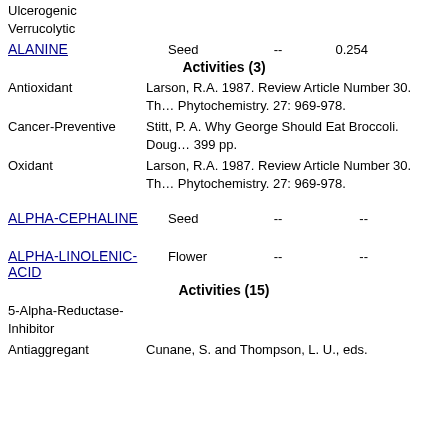Ulcerogenic
Verrucolytic
ALANINE   Seed   --   0.254
Activities (3)
Antioxidant — Larson, R.A. 1987. Review Article Number 30. The Antioxidants of Higher Plants. Phytochemistry. 27: 969-978.
Cancer-Preventive — Stitt, P. A. Why George Should Eat Broccoli. Dougherty Co, Milwaukee, WI, 1990, 399 pp.
Oxidant — Larson, R.A. 1987. Review Article Number 30. The Antioxidants of Higher Plants. Phytochemistry. 27: 969-978.
ALPHA-CEPHALINE   Seed   --   --
ALPHA-LINOLENIC-ACID   Flower   --   --
Activities (15)
5-Alpha-Reductase-Inhibitor
Antiaggregant — Cunane, S. and Thompson, L. U., eds.